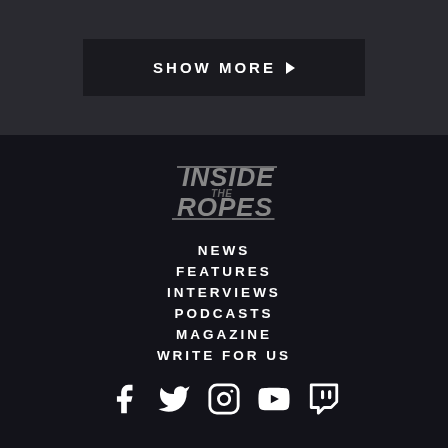SHOW MORE ▶
[Figure (logo): Inside The Ropes logo in grey/silver italic text on dark background]
NEWS
FEATURES
INTERVIEWS
PODCASTS
MAGAZINE
WRITE FOR US
[Figure (illustration): Social media icons: Facebook, Twitter, Instagram, YouTube, Twitch]